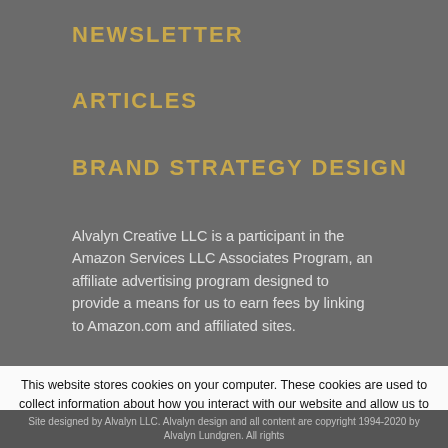NEWSLETTER
ARTICLES
BRAND STRATEGY DESIGN
Alvalyn Creative LLC is a participant in the Amazon Services LLC Associates Program, an affiliate advertising program designed to provide a means for us to earn fees by linking to Amazon.com and affiliated sites.
This website stores cookies on your computer. These cookies are used to collect information about how you interact with our website and allow us to remember you. We use this information in order to improve and customize your browsing experience and for analytics and metrics about our visitors both on this website and other media. If you decline, your information won't be tracked when you visit this website. A single cookie will be used in your browser to remember your preference not to be tracked.
Accept | Decline | Privacy policy
Site designed by Alvalyn LLC. Alvalyn design and all content are copyright 1994-2020 by Alvalyn Lundgren. All rights